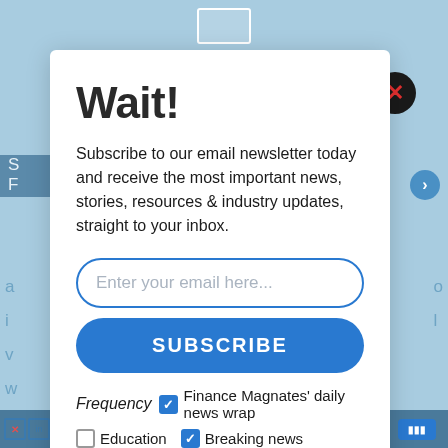[Figure (screenshot): Blue website background visible behind modal popup]
Wait!
Subscribe to our email newsletter today and receive the most important news, stories, resources & industry updates, straight to your inbox.
Enter your email here...
SUBSCRIBE
Frequency Finance Magnates' daily news wrap
Education
Breaking news
Business enhancing offers from relevant providers